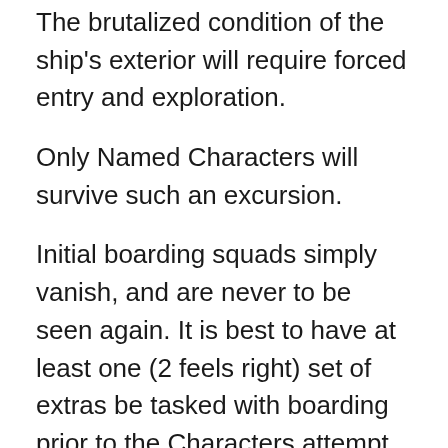The brutalized condition of the ship's exterior will require forced entry and exploration.
Only Named Characters will survive such an excursion.
Initial boarding squads simply vanish, and are never to be seen again. It is best to have at least one (2 feels right) set of extras be tasked with boarding prior to the Characters attempt.
Challenges for characters aboard the hulk encompass many tense physical, technical, and intellectual problems, dangers, and complications in the initial stages. It is from these that the GM will need to build memorable action sequences while the slower and more delicate process of forming reactions and realizations goes on in response to the lack of life yet sense of being preyed upon by the ship. As these challenges ensue, let the deserted and